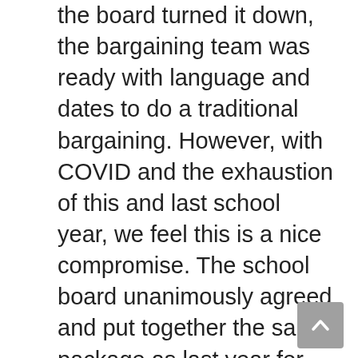the board turned it down, the bargaining team was ready with language and dates to do a traditional bargaining. However, with COVID and the exhaustion of this and last school year, we feel this is a nice compromise. The school board unanimously agreed and put together the same package as last year for next school year. This means starting the year with a contract in hand and pay raises in place. Additionally, impact bargaining will continue as long as COVID is an issue for the schools, which is all but guaranteed heading into next school year. An approval of an extension would also mean we already have a large jump on proposed language when we do return to bargain next year.
After we take this deal to the executive committee and the AR's, we will be setting a date